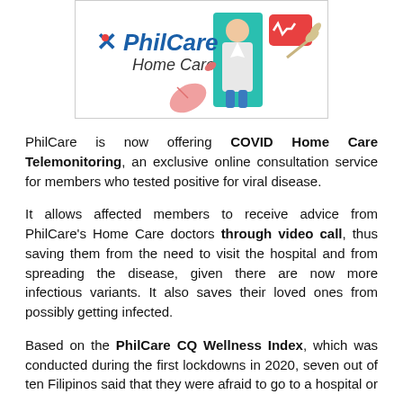[Figure (logo): PhilCare Home Care logo with illustration of a doctor, teal door, pink leaf, and beige branch on white background]
PhilCare is now offering COVID Home Care Telemonitoring, an exclusive online consultation service for members who tested positive for viral disease.
It allows affected members to receive advice from PhilCare's Home Care doctors through video call, thus saving them from the need to visit the hospital and from spreading the disease, given there are now more infectious variants. It also saves their loved ones from possibly getting infected.
Based on the PhilCare CQ Wellness Index, which was conducted during the first lockdowns in 2020, seven out of ten Filipinos said that they were afraid to go to a hospital or